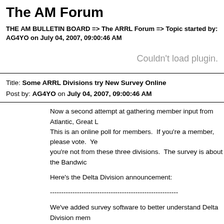The AM Forum
THE AM BULLETIN BOARD => The ARRL Forum => Topic started by: AG4YO on July 04, 2007, 09:00:46 AM
Couldn't load plugin.
Title: Some ARRL Divisions try New Survey Online
Post by: AG4YO on July 04, 2007, 09:00:46 AM
Now a second attempt at gathering member input from Atlantic, Great L... This is an online poll for members. If you're a member, please vote. Ye... you're not from these three divisions. The survey is about the Bandwic...
Here's the Delta Division announcement:
--------------------------------------------------------
We've added survey software to better understand Delta Division mem... views. We plan on doing frequent surveys to get view of ARRL "memb... only" on various topics. Results from these surveys will be an important source of information used in representing the Delta Division... membership.
To validate the responses, the survey will ask for your e-mail address. PLEASE use only your ARRL.NET address. Only e-mail addresses w...